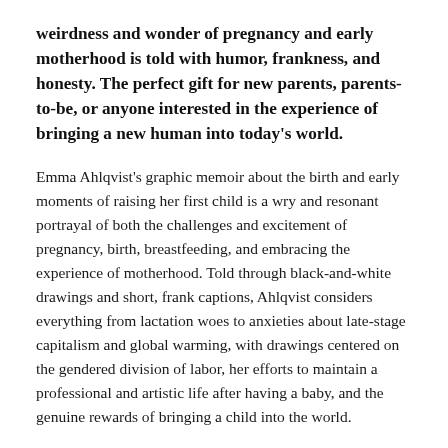weirdness and wonder of pregnancy and early motherhood is told with humor, frankness, and honesty. The perfect gift for new parents, parents-to-be, or anyone interested in the experience of bringing a new human into today's world.
Emma Ahlqvist's graphic memoir about the birth and early moments of raising her first child is a wry and resonant portrayal of both the challenges and excitement of pregnancy, birth, breastfeeding, and embracing the experience of motherhood. Told through black-and-white drawings and short, frank captions, Ahlqvist considers everything from lactation woes to anxieties about late-stage capitalism and global warming, with drawings centered on the gendered division of labor, her efforts to maintain a professional and artistic life after having a baby, and the genuine rewards of bringing a child into the world.